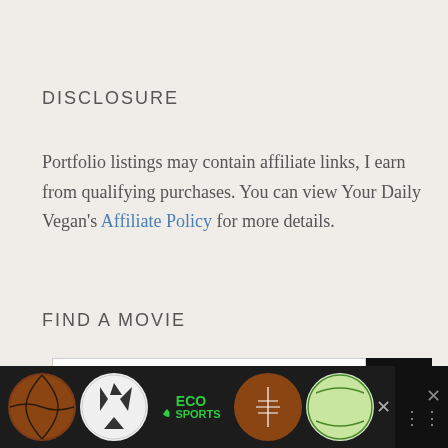DISCLOSURE
Portfolio listings may contain affiliate links, I earn from qualifying purchases. You can view Your Daily Vegan's Affiliate Policy for more details.
FIND A MOVIE
[Figure (screenshot): Search input field with search button]
[Figure (infographic): Advertisement banner showing sports balls and ECO SPORTS logo on dark background]